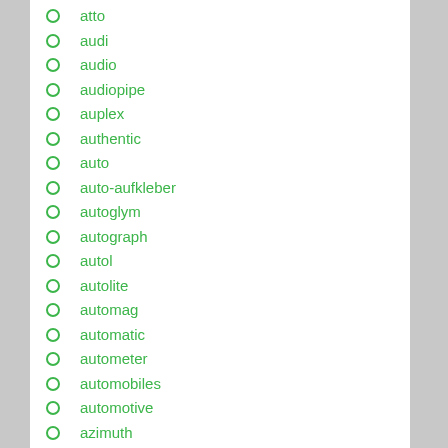atto
audi
audio
audiopipe
auplex
authentic
auto
auto-aufkleber
autoglym
autograph
autol
autolite
automag
automatic
autometer
automobiles
automotive
azimuth
b-ware